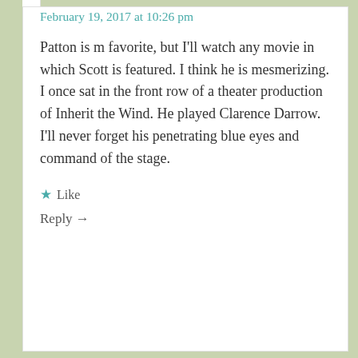February 19, 2017 at 10:26 pm
Patton is m favorite, but I'll watch any movie in which Scott is featured. I think he is mesmerizing. I once sat in the front row of a theater production of Inherit the Wind. He played Clarence Darrow. I'll never forget his penetrating blue eyes and command of the stage.
★ Like
Reply →